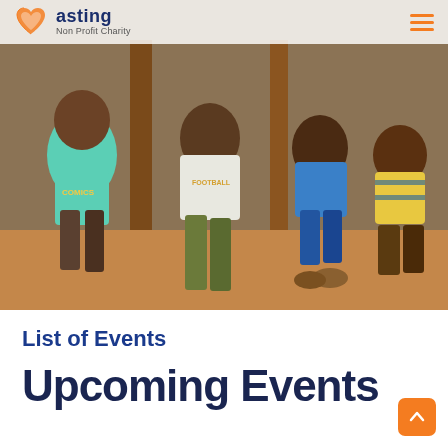asting Non Profit Charity
[Figure (photo): Four African children standing and sitting near wooden posts on a dirt ground. A child in a teal 'COMICS' shirt, a child in a white shirt, a child in a blue shirt, and a child in a yellow striped shirt.]
List of Events
Upcoming Events